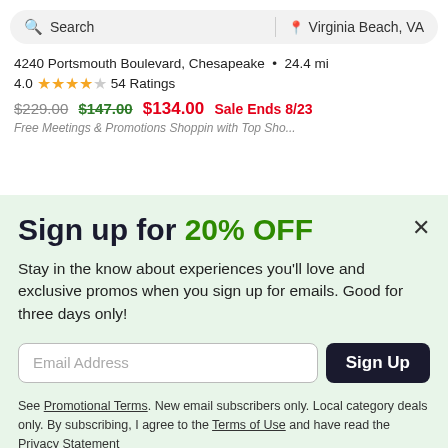Search | Virginia Beach, VA
4240 Portsmouth Boulevard, Chesapeake • 24.4 mi
4.0 ★★★★☆ 54 Ratings
$229.00  $147.00  $134.00  Sale Ends 8/23
Sign up for 20% OFF
Stay in the know about experiences you'll love and exclusive promos when you sign up for emails. Good for three days only!
Email Address  Sign Up
See Promotional Terms. New email subscribers only. Local category deals only. By subscribing, I agree to the Terms of Use and have read the Privacy Statement